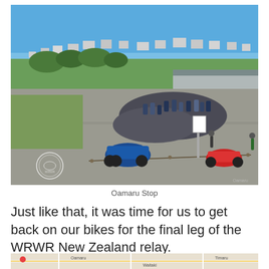[Figure (photo): Aerial view of a large group of motorcycles parked in a coastal parking lot in Oamaru, New Zealand. Riders are visible near their bikes. A commercial building is on the right, and a residential hillside township is visible in the background under a clear blue sky. A club logo watermark is in the lower-left corner.]
Oamaru Stop
Just like that, it was time for us to get back on our bikes for the final leg of the WRWR New Zealand relay.
[Figure (map): Bottom strip of a Google Maps view showing a road map of New Zealand.]